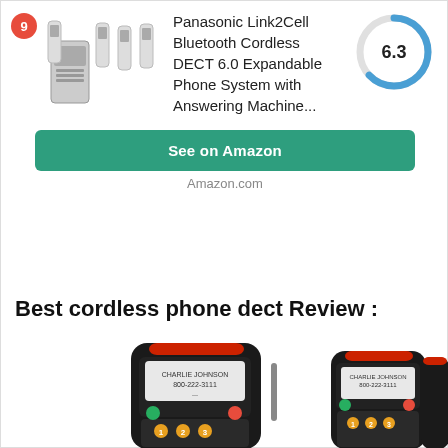[Figure (photo): Product listing card showing Panasonic cordless phone system set (3 phones + base), with badge number 9, product title, score 6.3 donut chart, and See on Amazon button]
Panasonic Link2Cell Bluetooth Cordless DECT 6.0 Expandable Phone System with Answering Machine...
See on Amazon
Amazon.com
Best cordless phone dect Review :
[Figure (photo): Three AT&T cordless phones displayed side by side, partially cut off at bottom of page]